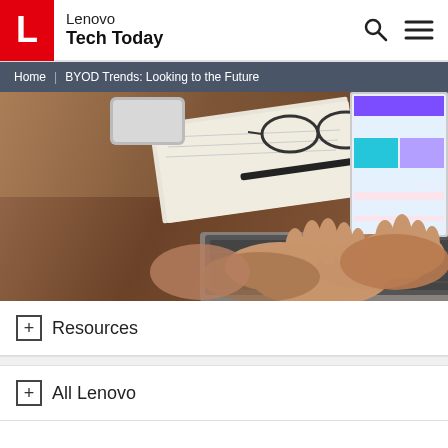Lenovo Tech Today
Home | BYOD Trends: Looking to the Future
[Figure (photo): Person typing on a laptop computer placed on a wooden desk, with glasses, notebook and smartphone in background. Laptop screen shows colorful interface.]
+ Resources
+ All Lenovo